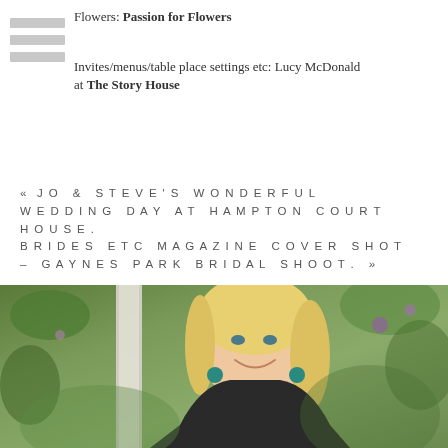Flowers: Passion for Flowers
Invites/menus/table place settings etc: Lucy McDonald at The Story House
« JO & STEVE'S WONDERFUL WEDDING DAY AT HAMPTON COURT HOUSE. BRIDES ETC MAGAZINE COVER SHOT – GAYNES PARK BRIDAL SHOOT. »
[Figure (photo): Portrait photo of a smiling blonde woman wearing teal earrings and a dark blazer, with a blurred green garden background]